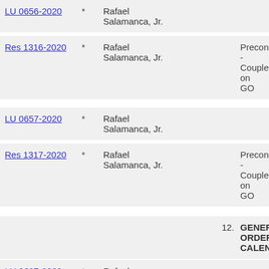| Item |  | Sponsor | Number | Status |
| --- | --- | --- | --- | --- |
| LU 0656-2020 | * | Rafael Salamanca, Jr. |  |  |
| Res 1316-2020 | * | Rafael Salamanca, Jr. |  | Preconsidered - Coupled on GO |
| LU 0657-2020 | * | Rafael Salamanca, Jr. |  |  |
| Res 1317-2020 | * | Rafael Salamanca, Jr. |  | Preconsidered - Coupled on GO |
|  |  |  | 12. | GENERAL ORDERS CALENDAR |
| LU 0627-2020 | * | Rafael Salamanca, Jr. |  |  |
| Res 1318-2020 | * | Rafael |  | Coupled on GO |